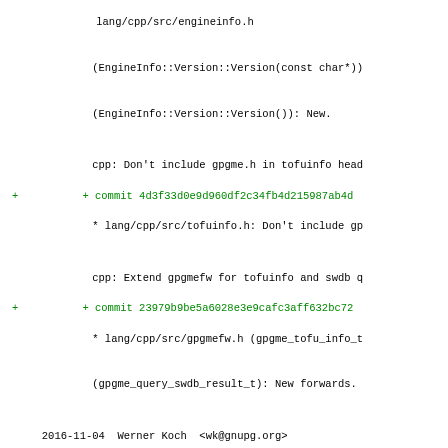lang/cpp/src/engineinfo.h
(EngineInfo::Version::Version(const char*))
(EngineInfo::Version::Version()): New.
cpp: Don't include gpgme.h in tofuinfo head
+ commit 4d3f33d0e9d960df2c34fb4d215987ab4d
* lang/cpp/src/tofuinfo.h: Don't include gp
cpp: Extend gpgmefw for tofuinfo and swdb q
+ commit 23979b9be5a6028e3e9cafc3aff632bc72
* lang/cpp/src/gpgmefw.h (gpgme_tofu_info_t
(gpgme_query_swdb_result_t): New forwards.
2016-11-04  Werner Koch  <wk@gnupg.org>
w32: Fix locating gpgconf on 64 bit systems
+ commit df08a0ca3f029b06b7e3a6bd63330df5cb
* src/w32-util.c (find_program_at_standard_
whether the binary is at CSIDL_PROGRAM_FILE
CSIDL_PROGRAM_FILESX86.
@@ -268,6 +1235,7 @@
2016-11-03  Werner Koch  <wk@gnupg.org>
core: Add gpgme_op_query_swdb and helper.
+ commit aad94cb7c313d4501bed748f48830cbb93
* src/gpgme.h.in (gpgme_query_swdb_result_t
(gpgme_op_query_swdb): New.
(gpgme_op_query_swdb_result): New.
@@ -291,12 +1259,14 @@
2016-11-03  Andre Heinecke  <aheinecke@intevation.